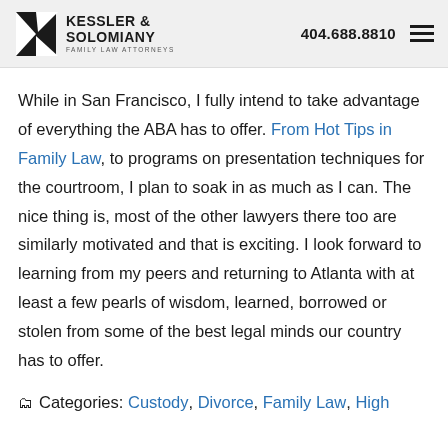Kessler & Solomiany Family Law Attorneys | 404.688.8810
While in San Francisco, I fully intend to take advantage of everything the ABA has to offer. From Hot Tips in Family Law, to programs on presentation techniques for the courtroom, I plan to soak in as much as I can. The nice thing is, most of the other lawyers there too are similarly motivated and that is exciting. I look forward to learning from my peers and returning to Atlanta with at least a few pearls of wisdom, learned, borrowed or stolen from some of the best legal minds our country has to offer.
Categories: Custody, Divorce, Family Law, High